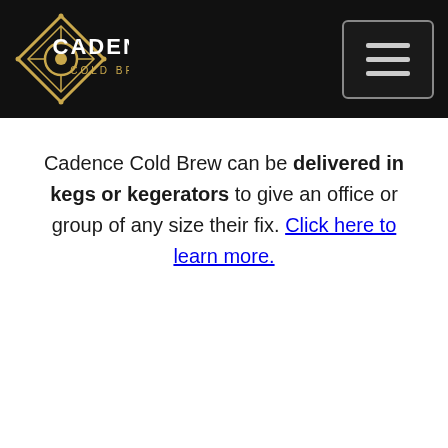Cadence Cold Brew — navigation header with logo and hamburger menu
Cadence Cold Brew can be delivered in kegs or kegerators to give an office or group of any size their fix. Click here to learn more.